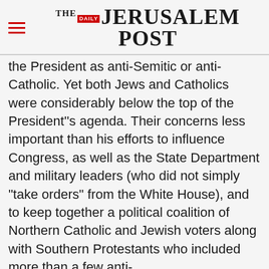THE JERUSALEM POST
the President as anti-Semitic or anti-Catholic. Yet both Jews and Catholics were considerably below the top of the President''s agenda. Their concerns less important than his efforts to influence Congress, as well as the State Department and military leaders (who did not simply "take orders" from the White House), and to keep together a political coalition of Northern Catholic and Jewish voters along with Southern Protestants who included more than a few anti-
Advertisement